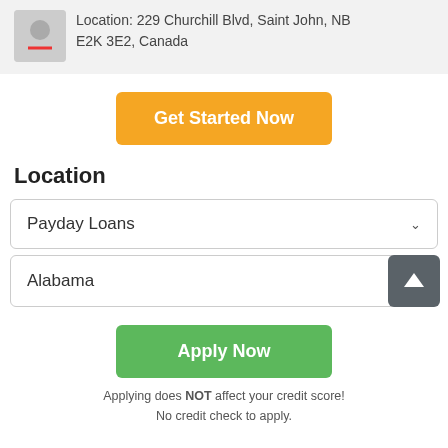Location: 229 Churchill Blvd, Saint John, NB E2K 3E2, Canada
Get Started Now
Location
Payday Loans
Alabama
Apply Now
Applying does NOT affect your credit score! No credit check to apply.